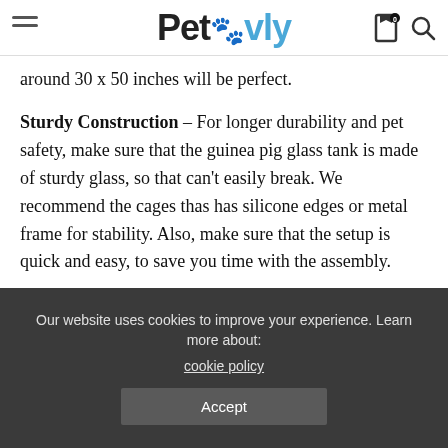Petovly
around 30 x 50 inches will be perfect.
Sturdy Construction – For longer durability and pet safety, make sure that the guinea pig glass tank is made of sturdy glass, so that can't easily break. We recommend the cages thas has silicone edges or metal frame for stability. Also, make sure that the setup is quick and easy, to save you time with the assembly.
Easy Access – So you can easily do daily pet's routine, the important feature is that the guinea pig aquarium cage has to say
Our website uses cookies to improve your experience. Learn more about: cookie policy Accept